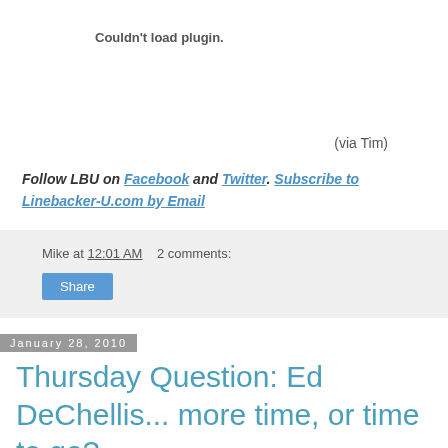Couldn't load plugin.
(via Tim)
Follow LBU on Facebook and Twitter. Subscribe to Linebacker-U.com by Email
Mike at 12:01 AM   2 comments:
Share
January 28, 2010
Thursday Question: Ed DeChellis... more time, or time to go?